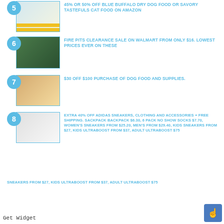45% OR 50% OFF BLUE BUFFALO DRY DOG FOOD OR SAVORY TASTEFULS CAT FOOD ON AMAZON
FIRE PITS CLEARANCE SALE ON WALMART FROM ONLY $16. LOWEST PRICES EVER ON THESE
$30 OFF $100 PURCHASE OF DOG FOOD AND SUPPLIES.
EXTRA 40% OFF ADIDAS SNEAKERS, CLOTHING AND ACCESSORIES + FREE SHIPPING. SACKPACK BACKPACK $6.30, 6 PACK NO SHOW SOCKS $7.70, WOMEN'S SNEAKERS FROM $25.20, MEN'S FROM $29.40, KIDS SNEAKERS FROM $27, KIDS ULTRABOOST FROM $37, ADULT ULTRABOOST $75
Get Widget